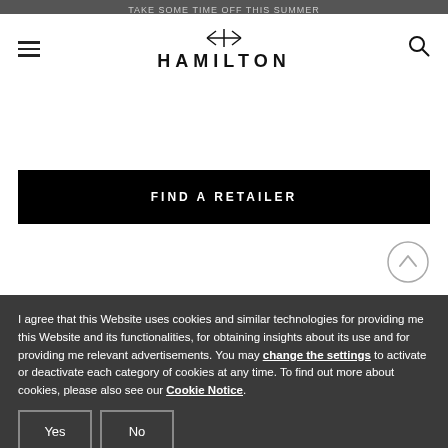TAKE SOME TIME OFF THIS SUMMER
[Figure (logo): Hamilton watch brand logo with H star icon and HAMILTON wordmark]
[Figure (other): Black FIND A RETAILER button]
[Figure (other): Circular scroll-to-top arrow button]
I agree that this Website uses cookies and similar technologies for providing me this Website and its functionalities, for obtaining insights about its use and for providing me relevant advertisements. You may change the settings to activate or deactivate each category of cookies at any time. To find out more about cookies, please also see our Cookie Notice.
Yes   No